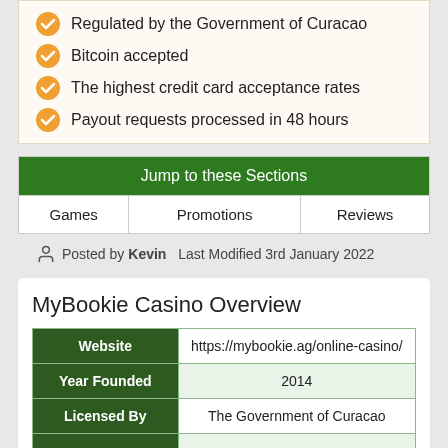Regulated by the Government of Curacao
Bitcoin accepted
The highest credit card acceptance rates
Payout requests processed in 48 hours
| Jump to these Sections |
| --- |
| Games | Promotions | Reviews |
Posted by Kevin  Last Modified 3rd January 2022
MyBookie Casino Overview
| Website | https://mybookie.ag/online-casino/ |
| --- | --- |
| Year Founded | 2014 |
| Licensed By | The Government of Curacao |